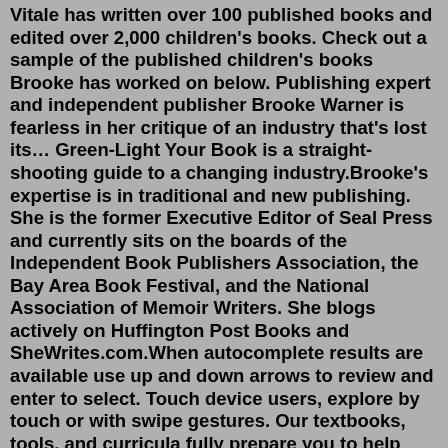Vitale has written over 100 published books and edited over 2,000 children's books. Check out a sample of the published children's books Brooke has worked on below. Publishing expert and independent publisher Brooke Warner is fearless in her critique of an industry that's lost its… Green-Light Your Book is a straight-shooting guide to a changing industry.Brooke's expertise is in traditional and new publishing. She is the former Executive Editor of Seal Press and currently sits on the boards of the Independent Book Publishers Association, the Bay Area Book Festival, and the National Association of Memoir Writers. She blogs actively on Huffington Post Books and SheWrites.com.When autocomplete results are available use up and down arrows to review and enter to select. Touch device users, explore by touch or with swipe gestures. Our textbooks, tools, and curricula fully prepare you to help close the 30 million word gap some children experience, support dual language learners, identify kids who need extra help with early literacy skills, and put all young